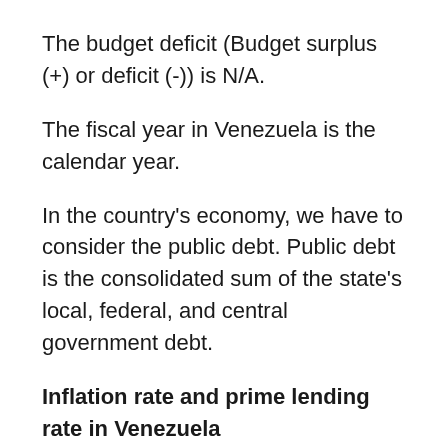The budget deficit (Budget surplus (+) or deficit (-)) is N/A.
The fiscal year in Venezuela is the calendar year.
In the country's economy, we have to consider the public debt. Public debt is the consolidated sum of the state's local, federal, and central government debt.
Inflation rate and prime lending rate in Venezuela
A few further interesting and relevant economic data are the following; Inflation